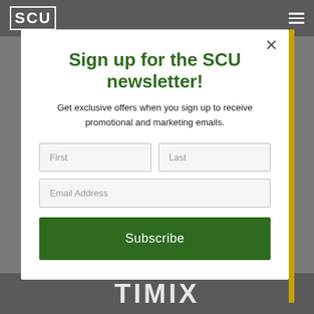SCU
Sign up for the SCU newsletter!
Get exclusive offers when you sign up to receive promotional and marketing emails.
[Figure (screenshot): Newsletter signup form with First, Last, and Email Address input fields and a Subscribe button]
TIMIX